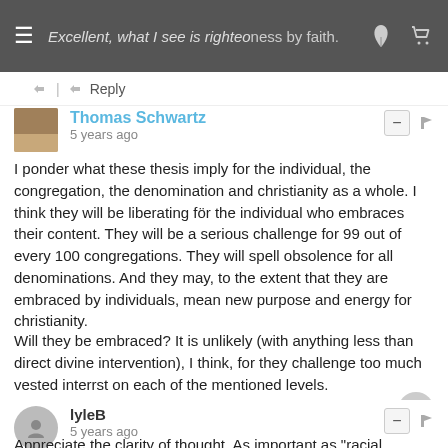Excellent, what I see is righteousness by faith.
Reply
Thomas Schwartz
5 years ago
I ponder what these thesis imply for the individual, the congregation, the denomination and christianity as a whole. I think they will be liberating för the individual who embraces their content. They will be a serious challenge for 99 out of every 100 congregations. They will spell obsolence for all denominations. And they may, to the extent that they are embraced by individuals, mean new purpose and energy for christianity.

Will they be embraced? It is unlikely (with anything less than direct divine intervention), I think, for they challenge too much vested interrst on each of the mentioned levels.
62 ∧ | ∨ Reply
lyleB
5 years ago
Appreciate the clarity of thought. As important as "racial...